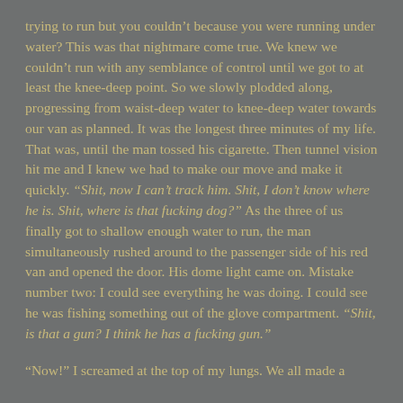trying to run but you couldn't because you were running under water? This was that nightmare come true. We knew we couldn't run with any semblance of control until we got to at least the knee-deep point. So we slowly plodded along, progressing from waist-deep water to knee-deep water towards our van as planned. It was the longest three minutes of my life. That was, until the man tossed his cigarette. Then tunnel vision hit me and I knew we had to make our move and make it quickly. “Shit, now I can’t track him. Shit, I don’t know where he is. Shit, where is that fucking dog?” As the three of us finally got to shallow enough water to run, the man simultaneously rushed around to the passenger side of his red van and opened the door. His dome light came on. Mistake number two: I could see everything he was doing. I could see he was fishing something out of the glove compartment. “Shit, is that a gun? I think he has a fucking gun.”
“Now!” I screamed at the top of my lungs. We all made a